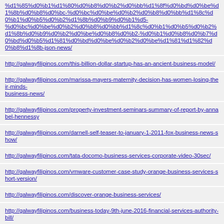%d1%85%d0%b1%d1%80%d0%b8%d0%b2%d0%bb%d1%8f%d0%bd%d0%be%d1%8b%d0%b8%d0%bc-%d0%bc%d0%be%d0%b2%d0%b8%d0%bb%d1%8c%d0%b1%d0%b5%d0%b2%d1%8b%d0%b9%d0%b1%d5-%d1%81%d0%b5%d1%80%d0%b2%d0%b8%d1%81%d0%b8-json-news/
http://galwayfilipinos.com/this-billion-dollar-startup-has-an-ancient-business-model/
http://galwayfilipinos.com/marissa-mayers-maternity-decision-has-women-losing-their-minds-business-news/
http://galwayfilipinos.com/property-investment-seminars-summary-of-report-by-annabel-hennessy
http://galwayfilipinos.com/darnell-self-teaser-to-january-1-2011-fox-business-news-show/
http://galwayfilipinos.com/tata-docomo-business-services-corporate-video-30sec/
http://galwayfilipinos.com/vmware-customer-case-study-orange-business-services-short-version/
http://galwayfilipinos.com/discover-orange-business-services/
http://galwayfilipinos.com/business-today-9th-june-2016-financial-services-authority-bill/
http://galwayfilipinos.com/latest-news-on-sap-product-support/
http://galwayfilipinos.com/3pl-news-starting-up-and-running-a-logistics-business/
Generated with Google (XML) Sitemaps Generator Plugin for WordPress by Arne Brachhold. This XSLT template is released under the GPL and free to use. If you have problems with your sitemap please visit the plugin FAQ or the support forum.